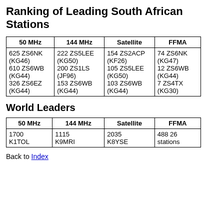Ranking of Leading South African Stations
| 50 MHz | 144 MHz | Satellite | FFMA |
| --- | --- | --- | --- |
| 625 ZS6NK (KG46)
610 ZS6WB (KG44)
326 ZS6EZ (KG44) | 222 ZS5LEE (KG50)
200 ZS1LS (JF96)
153 ZS6WB (KG44) | 154 ZS2ACP (KF26)
105 ZS5LEE (KG50)
103 ZS6WB (KG44) | 74 ZS6NK (KG47)
12 ZS6WB (KG44)
7 ZS4TX (KG30) |
World Leaders
| 50 MHz | 144 MHz | Satellite | FFMA |
| --- | --- | --- | --- |
| 1700
K1TOL | 1115
K9MRI | 2035
K8YSE | 488 26
stations |
Back to Index